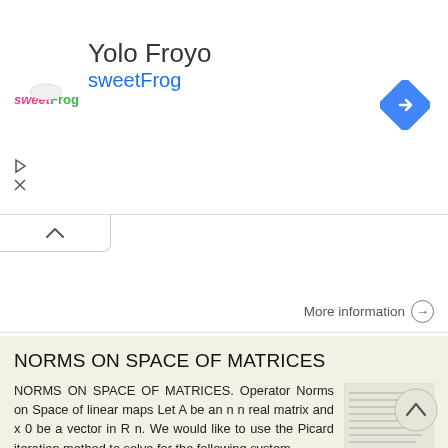[Figure (screenshot): Ad banner for Yolo Froyo sweetFrog with logo and navigation icon]
More information →
NORMS ON SPACE OF MATRICES
NORMS ON SPACE OF MATRICES. Operator Norms on Space of linear maps Let A be an n n real matrix and x 0 be a vector in R n. We would like to use the Picard iteration method to solve for the following system
More information →
08a. Operators on Hilbert spaces. 1. Boundedness, continuity, operator norms